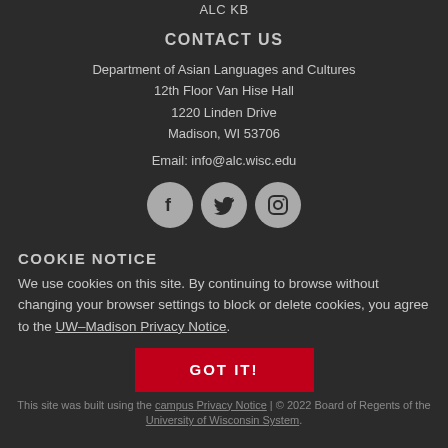ALC KB
CONTACT US
Department of Asian Languages and Cultures
12th Floor Van Hise Hall
1220 Linden Drive
Madison, WI 53706
Email: info@alc.wisc.edu
[Figure (illustration): Three social media icons (Facebook, Twitter, Instagram) displayed as dark circles with white icons on a grey circular background.]
COOKIE NOTICE
We use cookies on this site. By continuing to browse without changing your browser settings to block or delete cookies, you agree to the UW–Madison Privacy Notice.
This site was built using the campus Privacy Notice | © 2022 Board of Regents of the University of Wisconsin System.